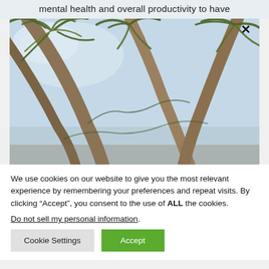mental health and overall productivity to have
[Figure (photo): Upward view of palm trees against a light blue sky, photo taken from below looking up through the fronds and trunks.]
We use cookies on our website to give you the most relevant experience by remembering your preferences and repeat visits. By clicking “Accept”, you consent to the use of ALL the cookies.
Do not sell my personal information.